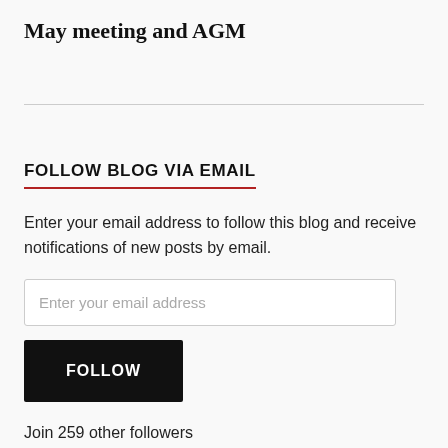May meeting and AGM
FOLLOW BLOG VIA EMAIL
Enter your email address to follow this blog and receive notifications of new posts by email.
Enter your email address
FOLLOW
Join 259 other followers